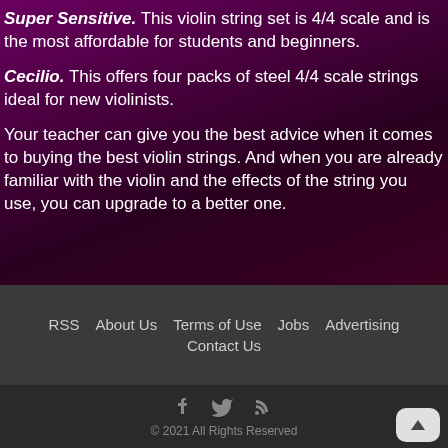Super Sensitive. This violin string set is 4/4 scale and is the most affordable for students and beginners.
Cecilio. This offers four packs of steel 4/4 scale strings ideal for new violinists.
Your teacher can give you the best advice when it comes to buying the best violin strings. And when you are already familiar with the violin and the effects of the string you use, you can upgrade to a better one.
RSS  About Us  Terms of Use  Jobs  Advertising  Contact Us  © 2021 All Rights Reserved